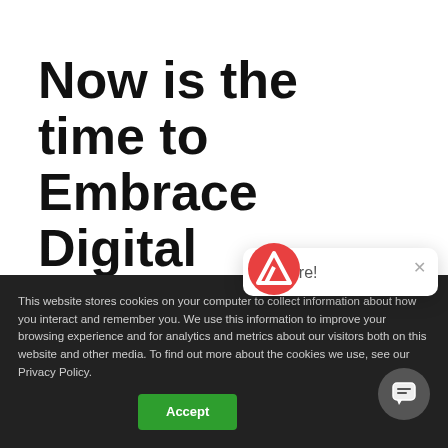Now is the time to Embrace Digital Transformation
FLASH & Arrive have created the fist
This website stores cookies on your computer to collect information about how you interact and remember you. We use this information to improve your browsing experience and for analytics and metrics about our visitors both on this website and other media. To find out more about the cookies we use, see our Privacy Policy.
Accept
Hi there!